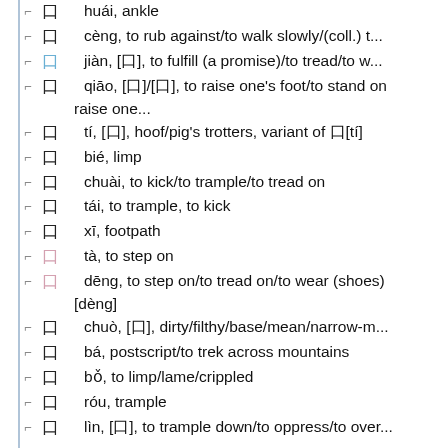huái, ankle
cèng, to rub against/to walk slowly/(coll.) t...
jiàn, [䨻], to fulfill (a promise)/to tread/to w...
qiāo, [蹺]/[跷], to raise one's foot/to stand on raise one...
tí, [蹄], hoof/pig's trotters, variant of 蹄[tí]
bié, limp
chuài, to kick/to trample/to tread on
tái, to trample, to kick
xī, footpath
tà, to step on
dēng, to step on/to tread on/to wear (shoes) [dèng]
chuò, [踔], dirty/filthy/base/mean/narrow-m...
bá, postscript/to trek across mountains
bǒ, to limp/lame/crippled
róu, trample
lìn, [躙], to trample down/to oppress/to over...